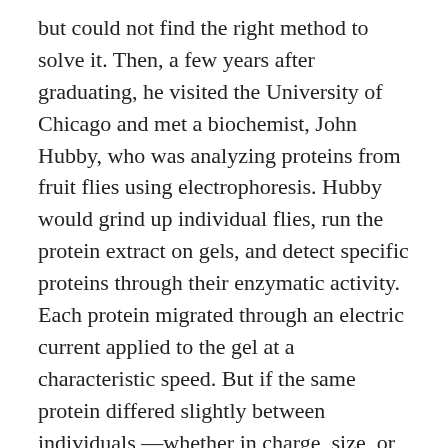but could not find the right method to solve it. Then, a few years after graduating, he visited the University of Chicago and met a biochemist, John Hubby, who was analyzing proteins from fruit flies using electrophoresis. Hubby would grind up individual flies, run the protein extract on gels, and detect specific proteins through their enzymatic activity. Each protein migrated through an electric current applied to the gel at a characteristic speed. But if the same protein differed slightly between individuals —whether in charge, size, or shape—its migration pattern might be altered. Lewontin realized the biochemists already had the missing technique that population geneticists sorely needed:
“…not enough credit is given to the effect of